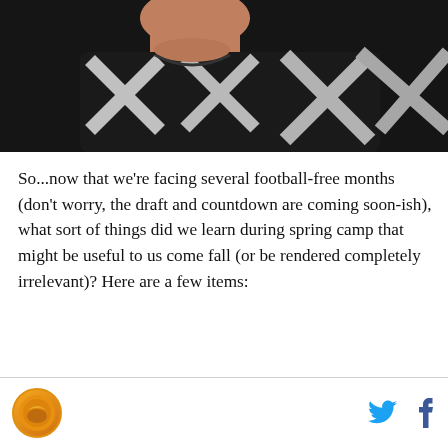[Figure (photo): Close-up photo of a person wearing a black jersey/jacket with white X-shaped or cross-like patterns on it, cropped to show mostly the torso and lower face.]
So...now that we're facing several football-free months (don't worry, the draft and countdown are coming soon-ish), what sort of things did we learn during spring camp that might be useful to us come fall (or be rendered completely irrelevant)? Here are a few items:
[Logo] [Twitter icon] [Facebook icon]